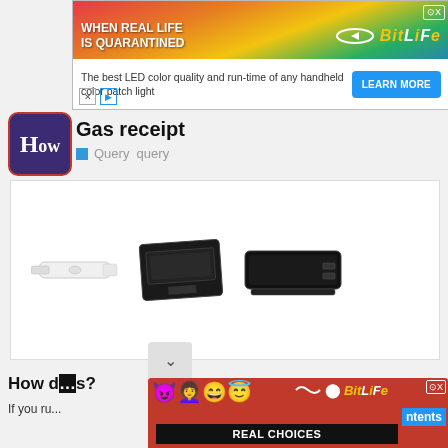[Figure (screenshot): BitLife ad banner with rainbow gradient background, 'WHEN REAL LIFE IS QUARANTINED' text, BitLife logo, and Learn More button for LED color light product]
[Figure (logo): How.com logo — white 'How' text on dark purple/blue rounded square background with red border]
Gas receipt
Query  query
[Figure (photo): Product images showing USB/display adapters and docking stations — white adapter, black card reader, black docking station]
How d...s?
If you ru...
[Figure (screenshot): BitLife ad bottom banner with red background, emoji characters, REAL CHOICES text, and BitLife logo]